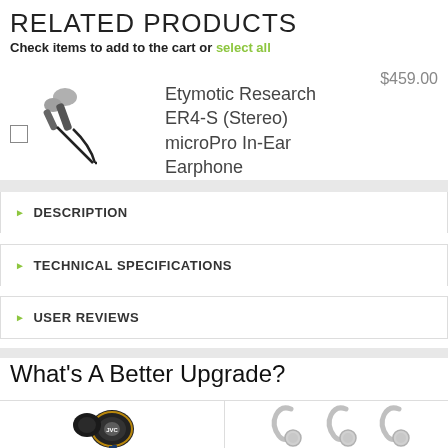RELATED PRODUCTS
Check items to add to the cart or select all
$459.00
Etymotic Research ER4-S (Stereo) microPro In-Ear Earphone
DESCRIPTION
TECHNICAL SPECIFICATIONS
USER REVIEWS
What's A Better Upgrade?
[Figure (photo): JVC in-ear earphone product photo]
[Figure (photo): Silver over-ear earphone product photo]